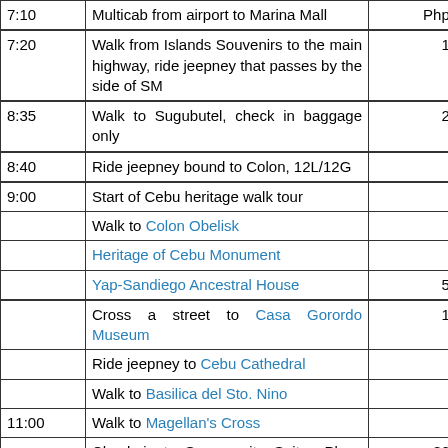| Time | Description | Cost |
| --- | --- | --- |
| 7:10 | Multicab from airport to Marina Mall | Php8.00 |
| 7:20 | Walk from Islands Souvenirs to the main highway, ride jeepney that passes by the side of SM | 15.00 |
| 8:35 | Walk to Sugubutel, check in baggage only | 25.00 |
| 8:40 | Ride jeepney bound to Colon, 12L/12G | 8.00 |
| 9:00 | Start of Cebu heritage walk tour |  |
|  | Walk to Colon Obelisk |  |
|  | Heritage of Cebu Monument |  |
|  | Yap-Sandiego Ancestral House | 50.00 |
|  | Cross a street to Casa Gorordo Museum | 15.00 |
|  | Ride jeepney to Cebu Cathedral | 8.00 |
|  | Walk to Basilica del Sto. Nino |  |
| 11:00 | Walk to Magellan's Cross |  |
|  | Check in to Sampaguita Suites Plaza Garcia for 2 nights | 800.00 |
| 12:30 PM | Walk to Fort San Pedro | 20.00 |